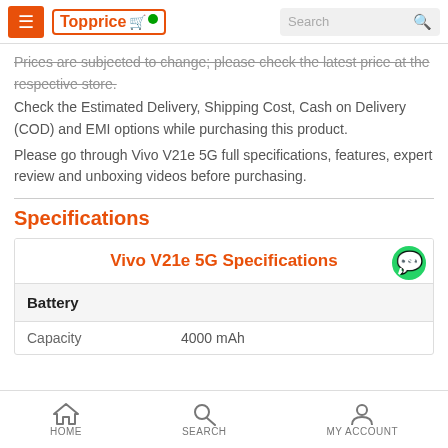Topprice — Search bar navigation
Prices are subjected to change; please check the latest price at the respective store.
Check the Estimated Delivery, Shipping Cost, Cash on Delivery (COD) and EMI options while purchasing this product.
Please go through Vivo V21e 5G full specifications, features, expert review and unboxing videos before purchasing.
Specifications
| Vivo V21e 5G Specifications |
| --- |
| Battery |  |
| Capacity | 4000 mAh |
HOME   SEARCH   MY ACCOUNT